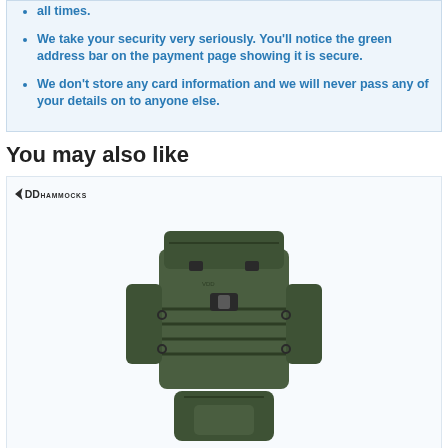all times.
We take your security very seriously. You'll notice the green address bar on the payment page showing it is secure.
We don't store any card information and we will never pass any of your details on to anyone else.
You may also like
[Figure (photo): DD Hammocks branded military-style green backpack with multiple compartments and MOLLE webbing]